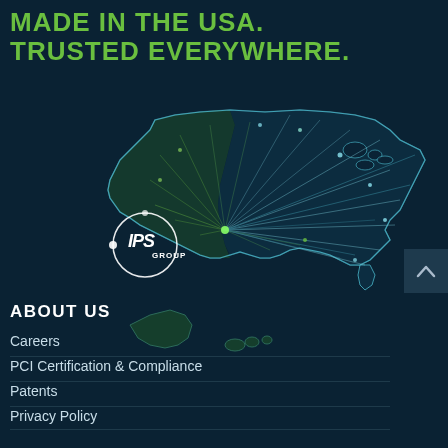MADE IN THE USA.
TRUSTED EVERYWHERE.
[Figure (illustration): Stylized map of the United States with lines radiating from a point in the western US (California/West Coast area) with IPS Group logo. The map transitions from green on the west to blue on the east, with glowing connection lines spreading across the country.]
ABOUT US
Careers
PCI Certification & Compliance
Patents
Privacy Policy